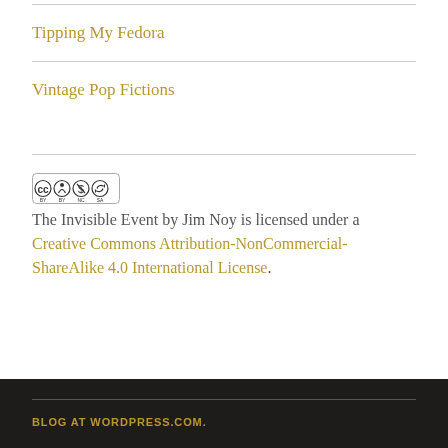Tipping My Fedora
Vintage Pop Fictions
[Figure (logo): Creative Commons BY-NC-SA license badge with CC, person, dollar-sign-crossed, and share-alike icons]
The Invisible Event by Jim Noy is licensed under a Creative Commons Attribution-NonCommercial-ShareAlike 4.0 International License.
BLOG AT WORDPRESS.COM.